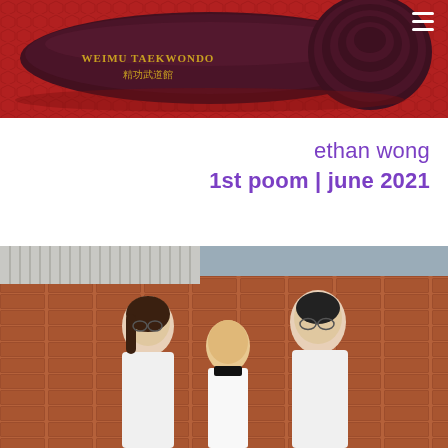[Figure (photo): A rolled dark maroon taekwondo belt with gold text reading WEIMU TAEKWONDO and Chinese characters, placed on a red textured mat background. A white hamburger menu icon appears in the top-right corner.]
ethan wong
1st poom | june 2021
[Figure (photo): Three people standing in front of a brick wall outdoors. A woman on the left and a man on the right wear white polo shirts with a logo. A young boy in the center wears a taekwondo uniform with a black collar. All three are smiling at the camera.]